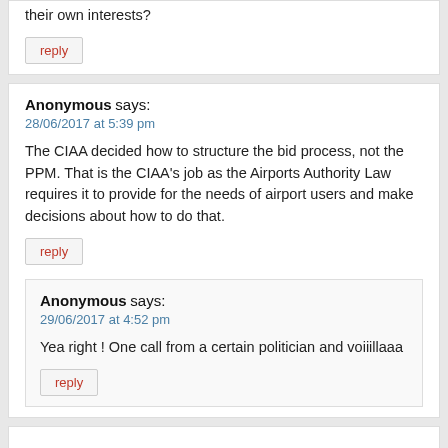their own interests?
reply
Anonymous says:
28/06/2017 at 5:39 pm
The CIAA decided how to structure the bid process, not the PPM. That is the CIAA's job as the Airports Authority Law requires it to provide for the needs of airport users and make decisions about how to do that.
reply
Anonymous says:
29/06/2017 at 4:52 pm
Yea right ! One call from a certain politician and voiiillaaa
reply